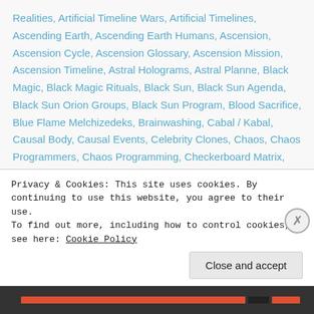Realities, Artificial Timeline Wars, Artificial Timelines, Ascending Earth, Ascending Earth Humans, Ascension, Ascension Cycle, Ascension Glossary, Ascension Mission, Ascension Timeline, Astral Holograms, Astral Planne, Black Magic, Black Magic Rituals, Black Sun, Black Sun Agenda, Black Sun Orion Groups, Black Sun Program, Blood Sacrifice, Blue Flame Melchizedeks, Brainwashing, Cabal / Kabal, Causal Body, Causal Events, Celebrity Clones, Chaos, Chaos Programmers, Chaos Programming, Checkerboard Matrix, Checkerboard Mutation, Chohans, Christ, Christ Mission, Christos, Christos Blueprint, Christos Mission, Christos
Privacy & Cookies: This site uses cookies. By continuing to use this website, you agree to their use.
To find out more, including how to control cookies, see here: Cookie Policy